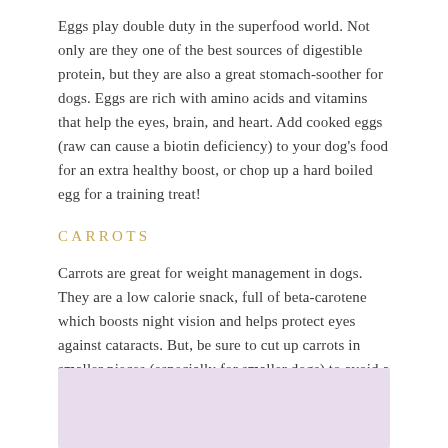Eggs play double duty in the superfood world. Not only are they one of the best sources of digestible protein, but they are also a great stomach-soother for dogs. Eggs are rich with amino acids and vitamins that help the eyes, brain, and heart. Add cooked eggs (raw can cause a biotin deficiency) to your dog's food for an extra healthy boost, or chop up a hard boiled egg for a training treat!
CARROTS
Carrots are great for weight management in dogs. They are a low calorie snack, full of beta-carotene which boosts night vision and helps protect eyes against cataracts. But, be sure to cut up carrots in smaller pieces (especially for smaller dogs) to avoid a choking hazard.
[Figure (other): Lavender/purple colored rectangular box at the bottom of the page]